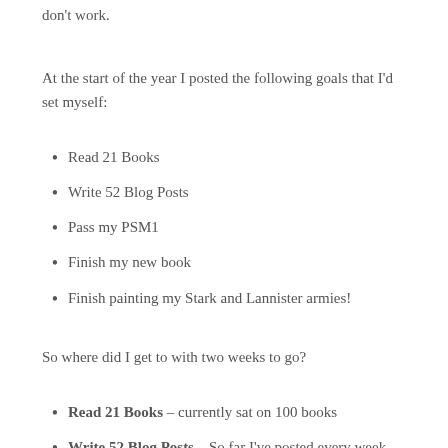don't work.
At the start of the year I posted the following goals that I'd set myself:
Read 21 Books
Write 52 Blog Posts
Pass my PSM1
Finish my new book
Finish painting my Stark and Lannister armies!
So where did I get to with two weeks to go?
Read 21 Books – currently sat on 100 books
Write 52 Blog Posts – So far I've posted every week (plus a few more for the junior